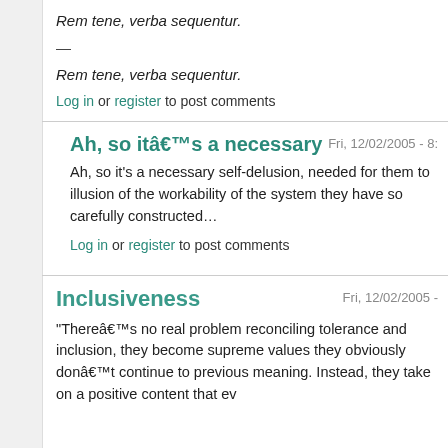Rem tene, verba sequentur.
—
Rem tene, verba sequentur.
Log in or register to post comments
Ah, so itâ€™s a necessary
Fri, 12/02/2005 - 8:
Ah, so it's a necessary self-delusion, needed for them to illusion of the workability of the system they have so carefully constructed…
Log in or register to post comments
Inclusiveness
Fri, 12/02/2005 -
“Thereâ€™s no real problem reconciling tolerance and inclusion, they become supreme values they obviously donâ€™t continue to previous meaning. Instead, they take on a positive content that ev